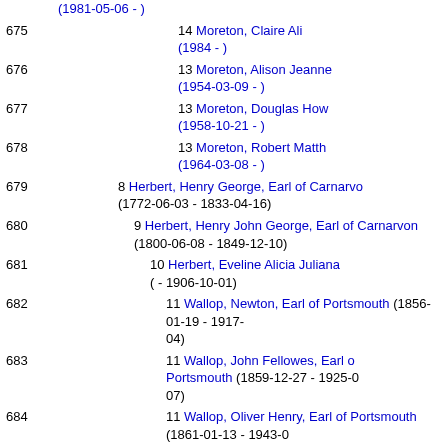(1981-05-06 - )
675   14 Moreton, Claire Ali... (1984 - )
676   13 Moreton, Alison Jeanne (1954-03-09 - )
677   13 Moreton, Douglas How... (1958-10-21 - )
678   13 Moreton, Robert Matth... (1964-03-08 - )
679   8 Herbert, Henry George, Earl of Carnarvo... (1772-06-03 - 1833-04-16)
680   9 Herbert, Henry John George, Earl of Carnarvon (1800-06-08 - 1849-12-10)
681   10 Herbert, Eveline Alicia Juliana ( - 1906-10-01)
682   11 Wallop, Newton, Earl of Portsmouth (1856-01-19 - 1917-... 04)
683   11 Wallop, John Fellowes, Earl of Portsmouth (1859-12-27 - 1925-... 07)
684   11 Wallop, Oliver Henry, Earl of Portsmouth (1861-01-13 - 1943-... 10)